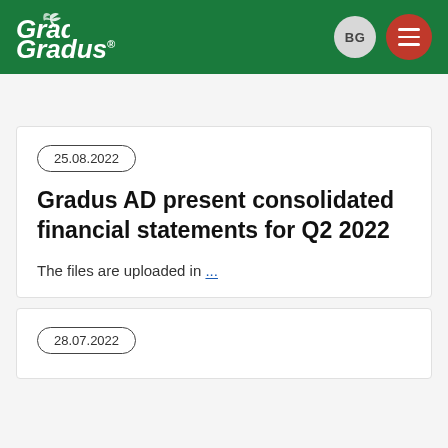Gradus BG [menu]
25.08.2022
Gradus AD present consolidated financial statements for Q2 2022
The files are uploaded in ...
28.07.2022